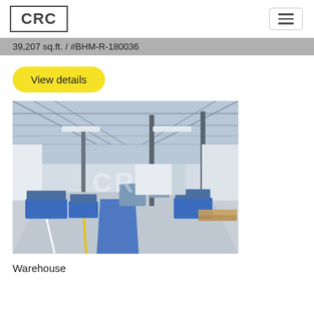[Figure (logo): CRC logo — bold text 'CRC' inside a square border]
39,207 sq.ft. / #BHM-R-180036
View details
[Figure (photo): Interior photo of a large industrial warehouse with steel frame, blue stripe on floor, machinery and workbenches, CRC watermark overlay]
Warehouse